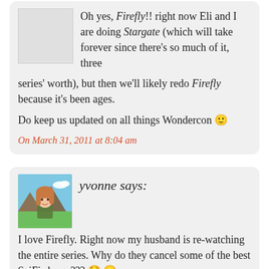Oh yes, Firefly!! right now Eli and I are doing Stargate (which will take forever since there's so much of it, three series' worth), but then we'll likely redo Firefly because it's been ages.

Do keep us updated on all things Wondercon 🙂
On March 31, 2011 at 8:04 am
yvonne says:
I love Firefly. Right now my husband is re-watching the entire series. Why do they cancel some of the best SciFi shows??? 😟 😐
On March 31, 2011 at 3:44 pm